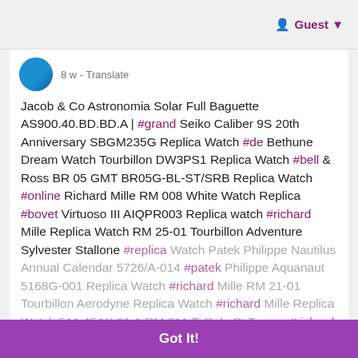Guest
8 w - Translate
Jacob & Co Astronomia Solar Full Baguette AS900.40.BD.BD.A | #grand Seiko Caliber 9S 20th Anniversary SBGM235G Replica Watch #de Bethune Dream Watch Tourbillon DW3PS1 Replica Watch #bell & Ross BR 05 GMT BR05G-BL-ST/SRB Replica Watch #online Richard Mille RM 008 White Watch Replica #bovet Virtuoso III AIQPR003 Replica watch #richard Mille Replica Watch RM 25-01 Tourbillon Adventure Sylvester Stallone #replica Watch Patek Philippe Nautilus Annual Calendar 5726/A-014 #patek Philippe Aquanaut 5168G-001 Replica Watch #richard Mille RM 21-01 Tourbillon Aerodyne Replica Watch #richard Mille Replica Watch 511.45AX.91-1 RM 011 Ti Polo St Tropez #richard Mille RM 21-01 Tourbillon Aerodyne Replica Watch #jacob & Co Twin Turbo Furious Bugatti TT200.21.AA.AA.A Replica watch #jacob & Co OPERA GODFATHER DIAMOND OP810.40.RD.UA.ABALA Replica watch
Got It!